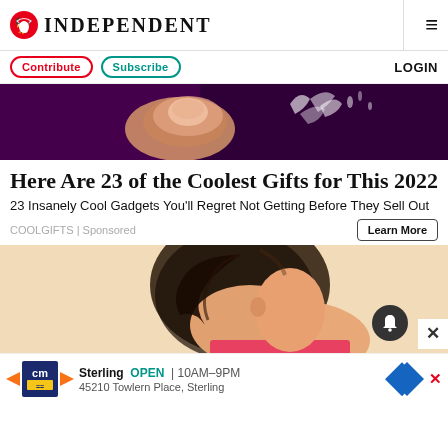INDEPENDENT
Contribute  Subscribe  LOGIN
[Figure (photo): Close-up photo of a finger touching or pressing something, with water or liquid splashing, against a dark purple background]
Here Are 23 of the Coolest Gifts for This 2022
23 Insanely Cool Gadgets You'll Regret Not Getting Before They Sell Out
COOLGIFTS | Sponsored
Learn More
[Figure (photo): Young woman with dark hair in a ponytail, wearing a pink top, looking down, against a light peach/beige background. Notification bell icon overlay. Close (X) button overlay.]
Sterling  OPEN | 10AM-9PM
45210 Towlern Place, Sterling